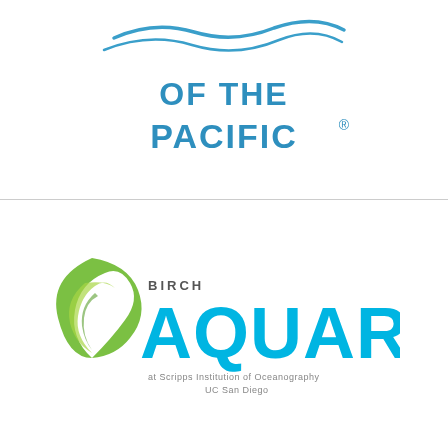[Figure (logo): Aquarium of the Pacific logo — stylized blue wave graphic above text reading 'OF THE PACIFIC®' in teal/blue capital letters]
[Figure (logo): Birch Aquarium logo — green leaf/wave circular icon beside large cyan 'AQUARIUM' text with small 'BIRCH' above the A, and tagline 'at Scripps Institution of Oceanography UC San Diego' below]